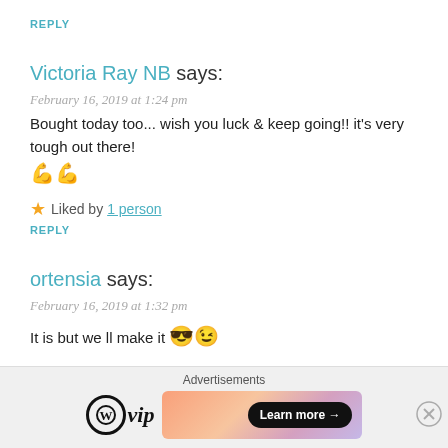REPLY
Victoria Ray NB says:
February 16, 2019 at 1:24 pm
Bought today too... wish you luck & keep going!! it's very tough out there! 💪💪
★ Liked by 1 person
REPLY
ortensia says:
February 16, 2019 at 1:32 pm
It is but we ll make it 😎😉
★ Liked by 1 person
Advertisements